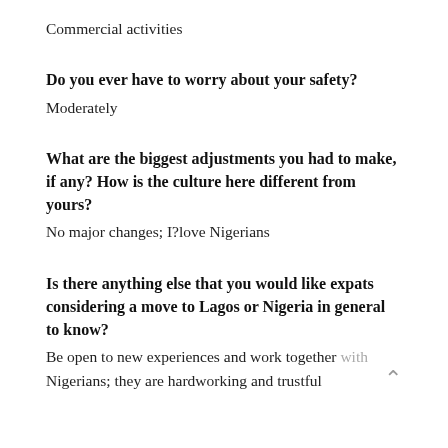Commercial activities
Do you ever have to worry about your safety?
Moderately
What are the biggest adjustments you had to make, if any? How is the culture here different from yours?
No major changes; I?love Nigerians
Is there anything else that you would like expats considering a move to Lagos or Nigeria in general to know?
Be open to new experiences and work together with Nigerians; they are hardworking and trustful